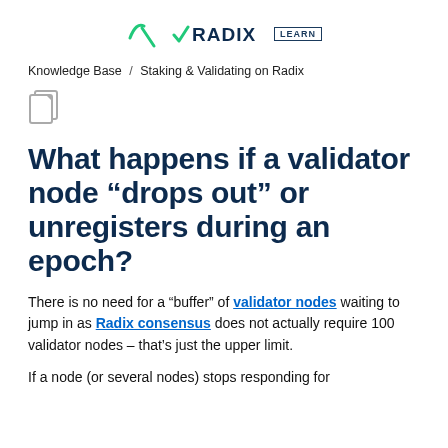RADIX LEARN
Knowledge Base / Staking & Validating on Radix
[Figure (illustration): Copy/document icon in gray outline style]
What happens if a validator node “drops out” or unregisters during an epoch?
There is no need for a “buffer” of validator nodes waiting to jump in as Radix consensus does not actually require 100 validator nodes – that’s just the upper limit.
If a node (or several nodes) stops responding for